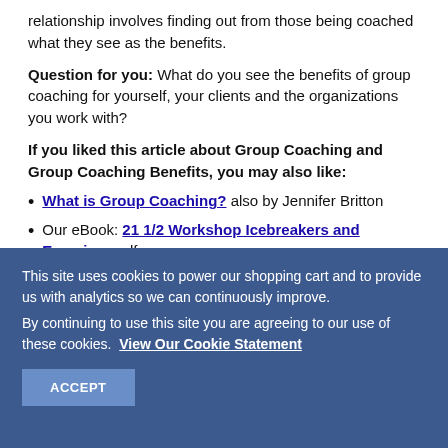relationship involves finding out from those being coached what they see as the benefits.
Question for you: What do you see the benefits of group coaching for yourself, your clients and the organizations you work with?
If you liked this article about Group Coaching and Group Coaching Benefits, you may also like:
What is Group Coaching? also by Jennifer Britton
Our eBook: 21 1/2 Workshop Icebreakers and Exercises pdf.
This site uses cookies to power our shopping cart and to provide us with analytics so we can continuously improve. By continuing to use this site you are agreeing to our use of these cookies. View Our Cookie Statement
ACCEPT